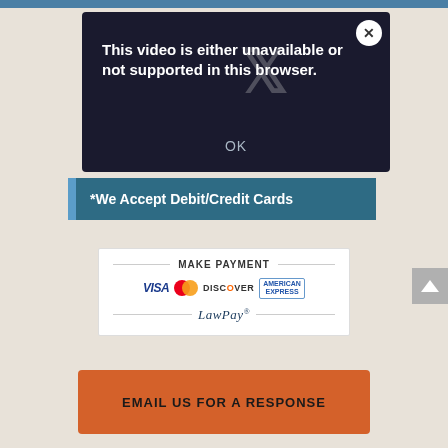[Figure (screenshot): Video player error dialog with dark background showing text 'This video is either unavailable or not supported in this browser.' with a close (X) button and OK button]
*We Accept Debit/Credit Cards
[Figure (logo): LawPay payment widget showing VISA, Mastercard, DISCOVER, AMERICAN EXPRESS logos and LawPay brand name]
EMAIL US FOR A RESPONSE